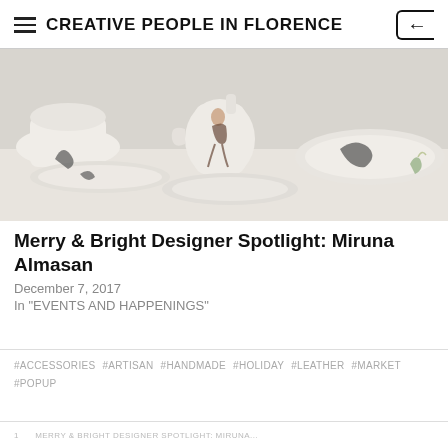CREATIVE PEOPLE IN FLORENCE
[Figure (photo): Close-up photo of white ceramic cups and saucers with painted figures and decorative motifs in dark ink, arranged on a white surface.]
Merry & Bright Designer Spotlight: Miruna Almasan
December 7, 2017
In "EVENTS AND HAPPENINGS"
#ACCESSORIES  #ARTISAN  #HANDMADE  #HOLIDAY  #LEATHER  #MARKET  #POPUP
MERRY & BRIGHT DESIGNER SPOTLIGHT: MIRUNA...